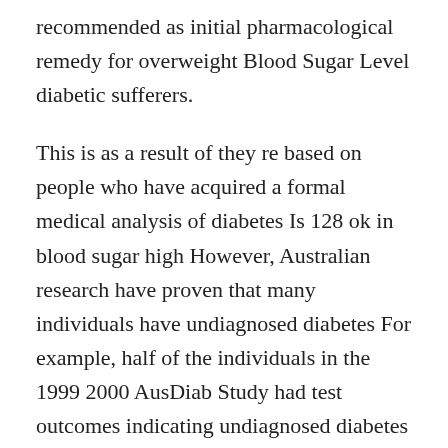recommended as initial pharmacological remedy for overweight Blood Sugar Level diabetic sufferers.
This is as a result of they re based on people who have acquired a formal medical analysis of diabetes Is 128 ok in blood sugar high However, Australian research have proven that many individuals have undiagnosed diabetes For example, half of the individuals in the 1999 2000 AusDiab Study had test outcomes indicating undiagnosed diabetes previous to collaborating in the research Dunstan et al 2001 In the newer 2011 12 ABS Australian Health Survey, which collected blood glucose data, 20 of participating adults and 18 and over Problem with size int